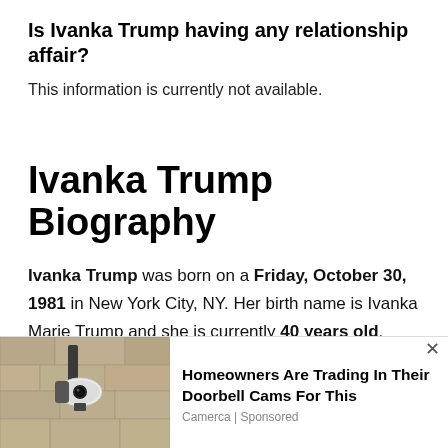Is Ivanka Trump having any relationship affair?
This information is currently not available.
Ivanka Trump Biography
Ivanka Trump was born on a Friday, October 30, 1981 in New York City, NY. Her birth name is Ivanka Marie Trump and she is currently 40 years old. People born on October 30 fall under the zodiac sign of
[Figure (photo): Advertisement banner showing a security camera mounted on a stone wall, for Camerca doorbell camera product]
Homeowners Are Trading In Their Doorbell Cams For This
Camerca | Sponsored